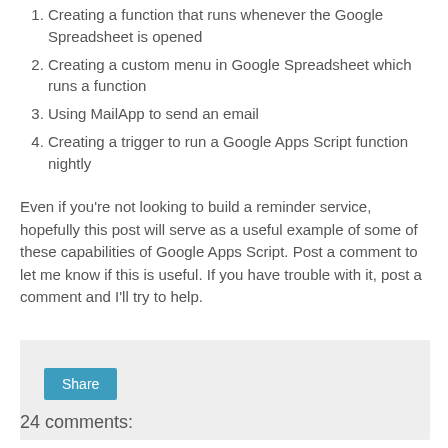Creating a function that runs whenever the Google Spreadsheet is opened
Creating a custom menu in Google Spreadsheet which runs a function
Using MailApp to send an email
Creating a trigger to run a Google Apps Script function nightly
Even if you're not looking to build a reminder service, hopefully this post will serve as a useful example of some of these capabilities of Google Apps Script. Post a comment to let me know if this is useful. If you have trouble with it, post a comment and I'll try to help.
[Figure (other): Share button widget box with light grey background and a teal Share button]
24 comments: